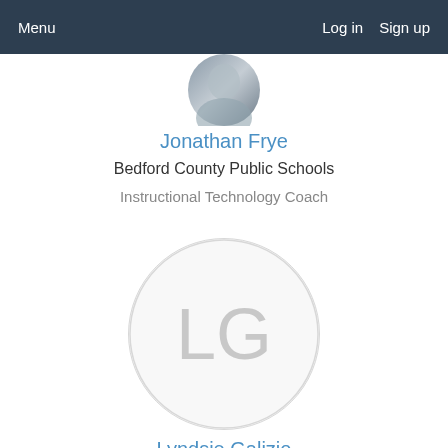Menu   Log in   Sign up
[Figure (photo): Partial profile photo of Jonathan Frye, cropped at top of page]
Jonathan Frye
Bedford County Public Schools
Instructional Technology Coach
[Figure (illustration): Avatar placeholder circle with initials LG in gray]
Lyndsie Galizio